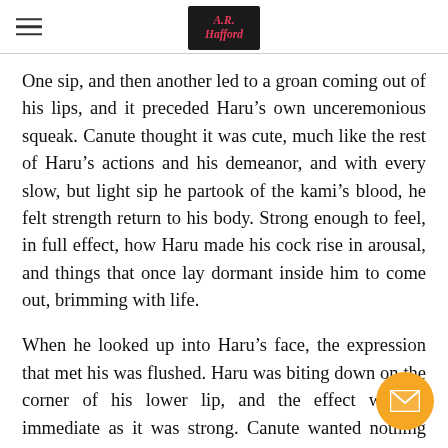A.R. Hafford [logo]
One sip, and then another led to a groan coming out of his lips, and it preceded Haru’s own unceremonious squeak. Canute thought it was cute, much like the rest of Haru’s actions and his demeanor, and with every slow, but light sip he partook of the kami’s blood, he felt strength return to his body. Strong enough to feel, in full effect, how Haru made his cock rise in arousal, and things that once lay dormant inside him to come out, brimming with life.
When he looked up into Haru’s face, the expression that met his was flushed. Haru was biting down on the corner of his lower lip, and the effect was as immediate as it was strong. Canute wanted nothing more than to slide right into the kami’s body right there, and him.